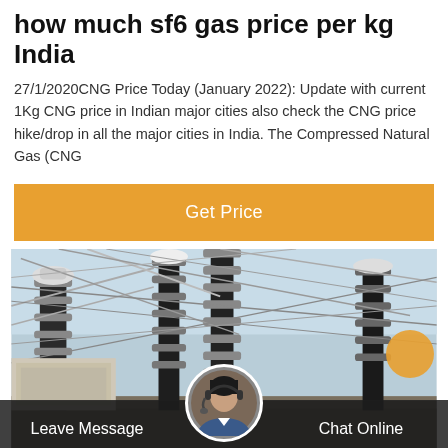how much sf6 gas price per kg India
27/1/2020CNG Price Today (January 2022): Update with current 1Kg CNG price in Indian major cities also check the CNG price hike/drop in all the major cities in India. The Compressed Natural Gas (CNG
[Figure (other): Orange 'Get Price' button banner]
[Figure (photo): Photo of an electrical substation with large insulators, transmission towers, and power lines against a sky background]
Leave Message
Chat Online